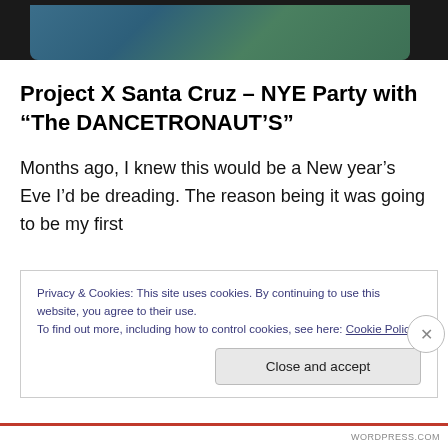[Figure (photo): Top portion of a photo showing a person in a teal/dark blue shirt with greenery in the background, partially cropped at the top of the page.]
Project X Santa Cruz – NYE Party with “The DANCETRONAUT’S”
Months ago, I knew this would be a New year’s Eve I’d be dreading. The reason being it was going to be my first
Privacy & Cookies: This site uses cookies. By continuing to use this website, you agree to their use.
To find out more, including how to control cookies, see here: Cookie Policy
Close and accept